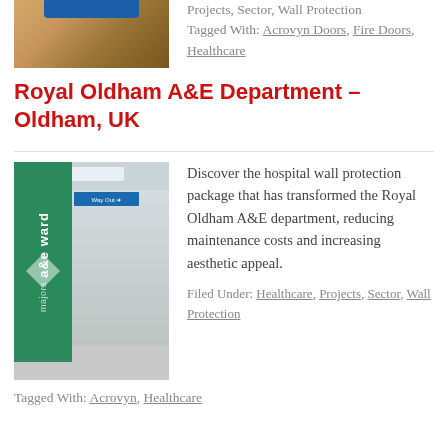[Figure (photo): Hospital corridor or entrance with blue overhead element, warm wood-toned flooring]
Projects, Sector, Wall Protection
Tagged With: Acrovyn Doors, Fire Doors, Healthcare
Royal Oldham A&E Department – Oldham, UK
[Figure (photo): Hospital corridor with green a&e ward panel on left, 'Way Out' sign, corridors extending into background with teal doors]
Discover the hospital wall protection package that has transformed the Royal Oldham A&E department, reducing maintenance costs and increasing aesthetic appeal.
Filed Under: Healthcare, Projects, Sector, Wall Protection
Tagged With: Acrovyn, Healthcare